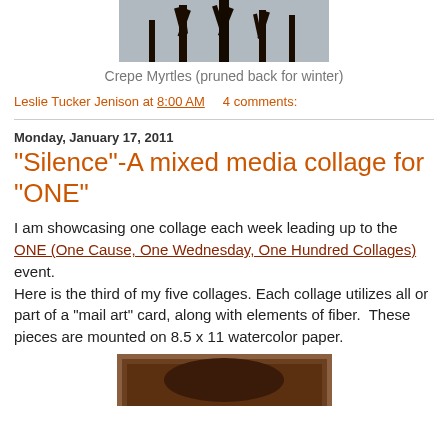[Figure (photo): Photo of crepe myrtle trees pruned back for winter against a grey sky, shown from below looking up at bare dark branches.]
Crepe Myrtles (pruned back for winter)
Leslie Tucker Jenison at 8:00 AM   4 comments:
Monday, January 17, 2011
"Silence"-A mixed media collage for "ONE"
I am showcasing one collage each week leading up to the ONE (One Cause, One Wednesday, One Hundred Collages) event.
Here is the third of my five collages. Each collage utilizes all or part of a "mail art" card, along with elements of fiber.  These pieces are mounted on 8.5 x 11 watercolor paper.
[Figure (photo): Partial photo visible at the bottom of the page, appears to be a collage artwork.]